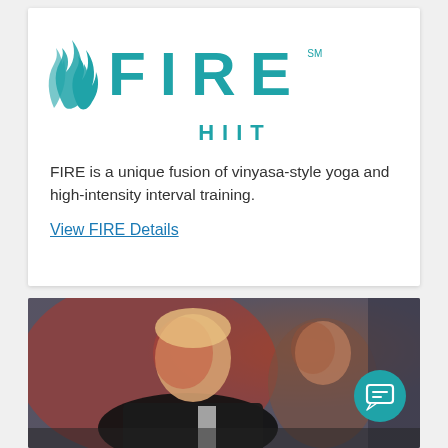[Figure (logo): FIRE HIIT logo with teal flame icon and large teal FIRE text with SM mark, and HIIT subtitle]
FIRE is a unique fusion of vinyasa-style yoga and high-intensity interval training.
View FIRE Details
[Figure (photo): Two athletes in a gym setting lit with red light, a man in black cycling jersey in foreground and a woman in background, both appearing to be in intense workout]